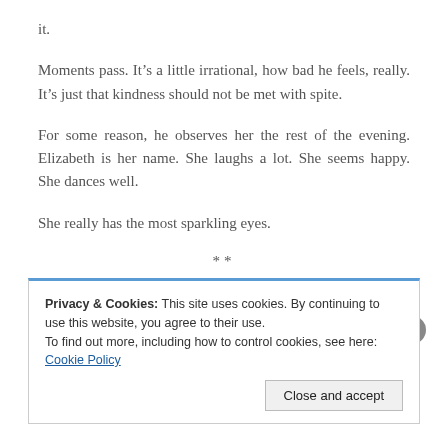it.
Moments pass. It’s a little irrational, how bad he feels, really. It’s just that kindness should not be met with spite.
For some reason, he observes her the rest of the evening. Elizabeth is her name. She laughs a lot. She seems happy. She dances well.
She really has the most sparkling eyes.
**
It’s dark and grey the next day in Elizabeth’s
Privacy & Cookies: This site uses cookies. By continuing to use this website, you agree to their use.
To find out more, including how to control cookies, see here: Cookie Policy
Close and accept